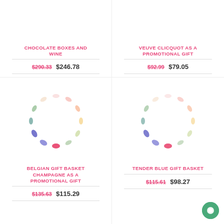[Figure (illustration): Loading spinner/image placeholder for Chocolate Boxes and Wine]
CHOCOLATE BOXES AND WINE
$290.33  $246.78
[Figure (illustration): Loading spinner/image placeholder for Veuve Clicquot as a Promotional Gift]
VEUVE CLICQUOT AS A PROMOTIONAL GIFT
$92.99  $79.05
[Figure (illustration): Loading spinner/image placeholder for Belgian Gift Basket Champagne]
BELGIAN GIFT BASKET CHAMPAGNE AS A PROMOTIONAL GIFT
$135.63  $115.29
[Figure (illustration): Loading spinner/image placeholder for Tender Blue Gift Basket]
TENDER BLUE GIFT BASKET
$115.61  $98.27